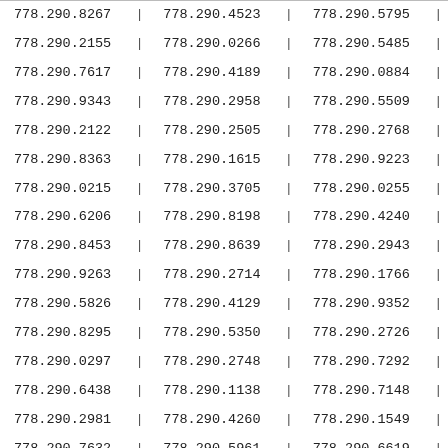| col1 | col2 | col3 |
| --- | --- | --- |
| 778.290.8267 | 778.290.4523 | 778.290.5795 |
| 778.290.2155 | 778.290.0266 | 778.290.5485 |
| 778.290.7617 | 778.290.4189 | 778.290.0884 |
| 778.290.9343 | 778.290.2958 | 778.290.5509 |
| 778.290.2122 | 778.290.2505 | 778.290.2768 |
| 778.290.8363 | 778.290.1615 | 778.290.9223 |
| 778.290.0215 | 778.290.3705 | 778.290.0255 |
| 778.290.6206 | 778.290.8198 | 778.290.4240 |
| 778.290.8453 | 778.290.8639 | 778.290.2943 |
| 778.290.9263 | 778.290.2714 | 778.290.1766 |
| 778.290.5826 | 778.290.4129 | 778.290.9352 |
| 778.290.8295 | 778.290.5350 | 778.290.2726 |
| 778.290.0297 | 778.290.2748 | 778.290.7292 |
| 778.290.6438 | 778.290.1138 | 778.290.7148 |
| 778.290.2981 | 778.290.4260 | 778.290.1549 |
| 778.290.7632 | 778.290.5961 | 778.290.6619 |
| 778.290.3133 | 778.290.4104 | 778.290.0862 |
| 778.290.6857 | 778.290.9290 | 778.290.9023 |
| 778.290.0857 | 778.290.9490 | 778.290.5707 |